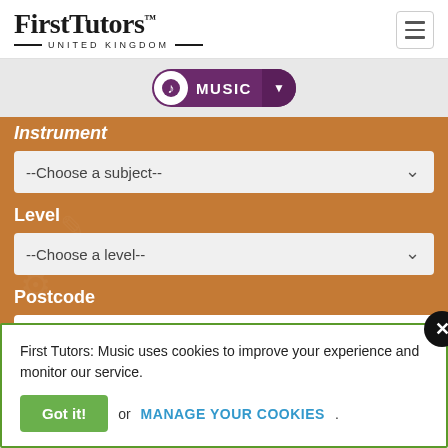[Figure (logo): First Tutors United Kingdom logo]
[Figure (screenshot): Music subject selector pill with music note icon and dropdown arrow]
Instrument
--Choose a subject--
Level
--Choose a level--
Postcode
First Tutors: Music uses cookies to improve your experience and monitor our service.
Got it! or MANAGE YOUR COOKIES.